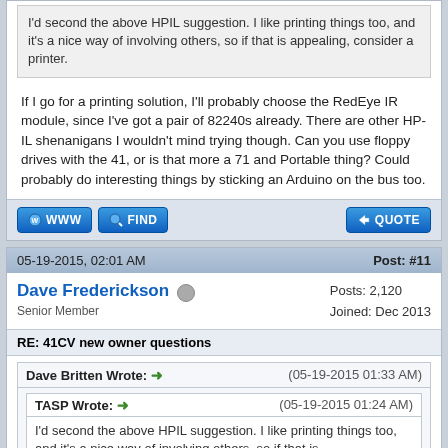I'd second the above HPIL suggestion. I like printing things too, and it's a nice way of involving others, so if that is appealing, consider a printer.
If I go for a printing solution, I'll probably choose the RedEye IR module, since I've got a pair of 82240s already. There are other HP-IL shenanigans I wouldn't mind trying though. Can you use floppy drives with the 41, or is that more a 71 and Portable thing? Could probably do interesting things by sticking an Arduino on the bus too.
05-19-2015, 02:01 AM
Post: #11
Dave Frederickson
Senior Member
Posts: 2,120
Joined: Dec 2013
RE: 41CV new owner questions
Dave Britten Wrote: → (05-19-2015 01:33 AM)
TASP Wrote: → (05-19-2015 01:24 AM)
I'd second the above HPIL suggestion. I like printing things too, and it's a nice way of involving others, so if that is